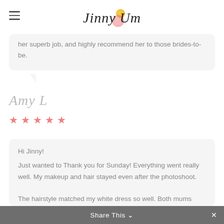Jinny Um
her superb job, and highly recommend her to those brides-to-be.
Amy L
★★★★★
Hi Jinny! Just wanted to Thank you for Sunday! Everything went really well. My makeup and hair stayed even after the photoshoot. The hairstyle matched my white dress so well. Both mums looked fantastic and Amy did a excellent job with Belle too!
Share This